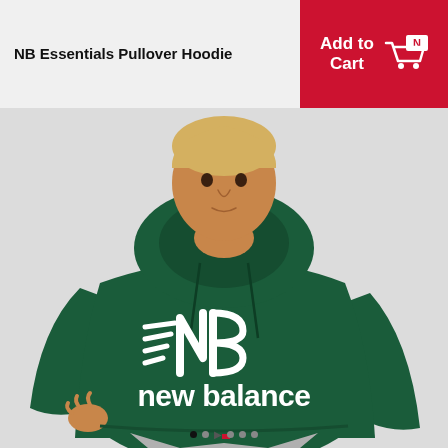NB Essentials Pullover Hoodie
Add to Cart
[Figure (photo): A man wearing a dark green New Balance pullover hoodie with the NB logo and 'new balance' text on the chest, paired with light grey sweatpants, photographed against a light grey background.]